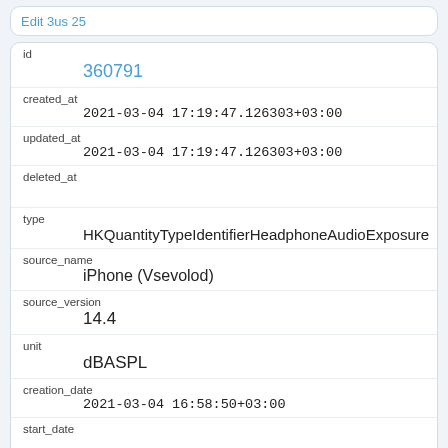Edit 3us 25
| field | value |
| --- | --- |
| id | 360791 |
| created_at | 2021-03-04 17:19:47.126303+03:00 |
| updated_at | 2021-03-04 17:19:47.126303+03:00 |
| deleted_at |  |
| type | HKQuantityTypeIdentifierHeadphoneAudioExposure |
| source_name | iPhone (Vsevolod) |
| source_version | 14.4 |
| unit | dBASPL |
| creation_date | 2021-03-04 16:58:50+03:00 |
| start_date |  |